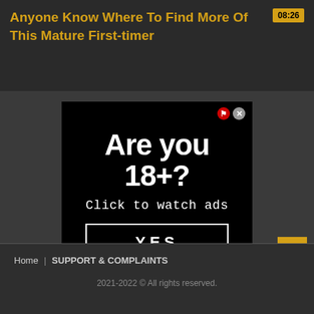Anyone Know Where To Find More Of This Mature First-timer
[Figure (screenshot): Adult age verification advertisement popup with large text 'Are you 18+?', subtext 'Click to watch ads', and a YES button with border. Close icons (flag and X) in top-right corner.]
Home  SUPPORT & COMPLAINTS
2021-2022 © All rights reserved.